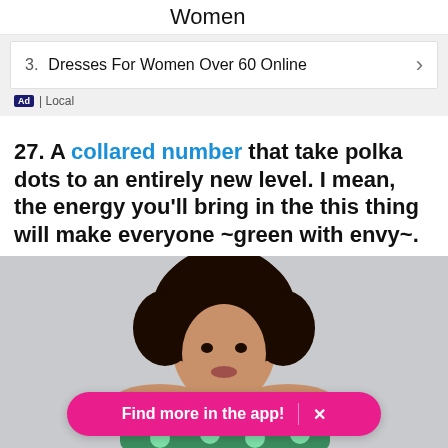Women
3. Dresses For Women Over 60 Online
Ad | Local
27. A collared number that take polka dots to an entirely new level. I mean, the energy you'll bring in the this thing will make everyone ~green with envy~.
[Figure (photo): Woman with natural curly hair wearing a green polka dot collared dress against a light gray background]
Find more in the app! X